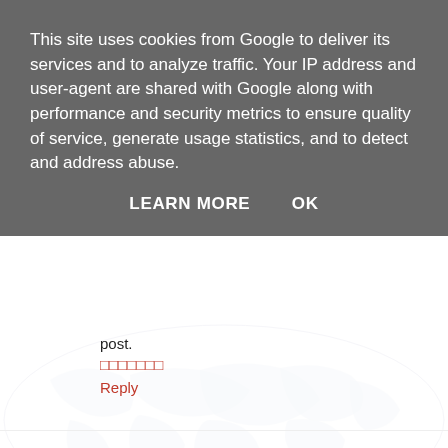This site uses cookies from Google to deliver its services and to analyze traffic. Your IP address and user-agent are shared with Google along with performance and security metrics to ensure quality of service, generate usage statistics, and to detect and address abuse.
LEARN MORE   OK
post.
□□□□□□□
Reply
casinosite777.info  13 November 2021 at 03:54
Thank you for providing a good quality article.
□□□□□□
Reply
baccaratsite.top  13 November 2021 at 04:10
Such an amazing and helpful post. I really really love it.